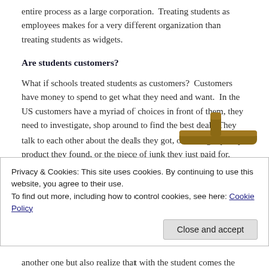entire process as a large corporation.  Treating students as employees makes for a very different organization than treating students as widgets.
Are students customers?
What if schools treated students as customers?  Customers have money to spend to get what they need and want.  In the US customers have a myriad of choices in front of them, they need to investigate, shop around to find the best deal.  They talk to each other about the deals they got, or the high quality product they found, or the piece of junk they just paid for.  Customers get to choose how to allocate their spending, sure getting groceries is a high priority, but even with that how much fruit do you buy, how much ice cream?  Stores cater to the needs and wants of customers
[Figure (illustration): Partial illustration of a brown wooden log or barrel object, partially obscured]
Privacy & Cookies: This site uses cookies. By continuing to use this website, you agree to their use.
To find out more, including how to control cookies, see here: Cookie Policy
another one but also realize that with the student comes the revenue